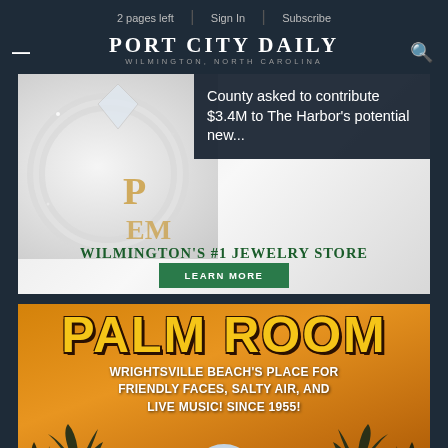2 pages left  |  Sign In  |  Subscribe
PORT CITY DAILY
WILMINGTON, NORTH CAROLINA
County asked to contribute $3.4M to The Harbor's potential new...
[Figure (photo): Jewelry store advertisement showing a diamond ring and decorative lion emblem logo with text 'WILMINGTON'S #1 JEWELRY STORE' and a 'LEARN MORE' button]
[Figure (photo): Palm Room advertisement with large bold yellow text on orange-gold background with palm tree silhouettes, text reads: PALM ROOM - WRIGHTSVILLE BEACH'S PLACE FOR FRIENDLY FACES, SALTY AIR, AND LIVE MUSIC! SINCE 1955!]